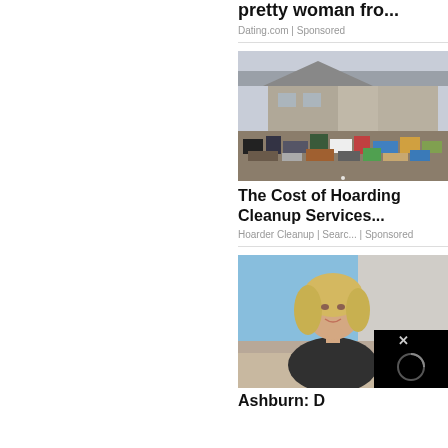pretty woman fro...
Dating.com | Sponsored
[Figure (photo): Exterior of a house surrounded by large amounts of hoarded items and debris on a winter day with bare trees in background]
The Cost of Hoarding Cleanup Services...
Hoarder Cleanup | Searc...  | Sponsored
[Figure (photo): Blonde woman sitting on a couch in a studio setting, smiling, with a video overlay showing a close button and loading circle in the bottom right corner]
Ashburn: D